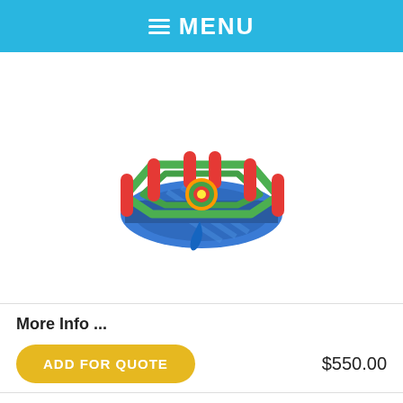MENU
[Figure (photo): Inflatable hexagonal bounce house/arena with blue striped floor, green rails, and red corner pillars, with a colorful logo in the center and a blue slide attachment]
More Info ...
ADD FOR QUOTE   $550.00
Kiddie Bubble Wash